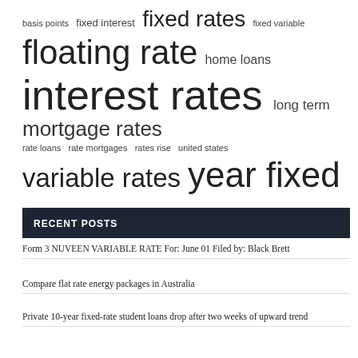[Figure (infographic): Tag cloud of finance/lending related terms with varying font sizes indicating frequency/importance. Terms include: basis points, fixed interest, fixed rates, fixed variable, floating rate, home loans, interest rates, long term, mortgage rates, rate loans, rate mortgages, rates rise, united states, variable rates, year fixed]
RECENT POSTS
Form 3 NUVEEN VARIABLE RATE For: June 01 Filed by: Black Brett
Compare flat rate energy packages in Australia
Private 10-year fixed-rate student loans drop after two weeks of upward trend